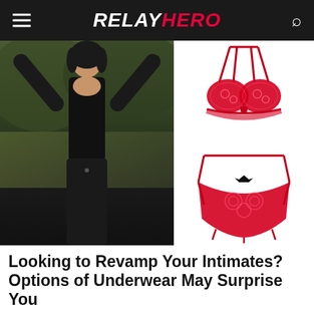RELAY HERO
[Figure (photo): Two images side by side: left shows a woman in a black bodysuit outdoors, right shows red lace lingerie set on a white background]
Looking to Revamp Your Intimates? Options of Underwear May Surprise You
See New Options Now
Shop Bras and Panty Sets | Search Ads | Sponsored
Learn More